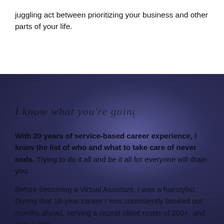juggling act between prioritizing your business and other parts of your life.
[Figure (illustration): Handwritten script text reading 'I know what you're going through.']
With 20 years of service-based career experience, I know the list of who and what to take care of never ends. Trying to do it all and be it all for everyone will drain you.
Before becoming a Virtual Assistant, I was a hairstylist. During that 16-year career I was consistently booked out months ahead, serving a repeat client roster of 200+, and over 1,000